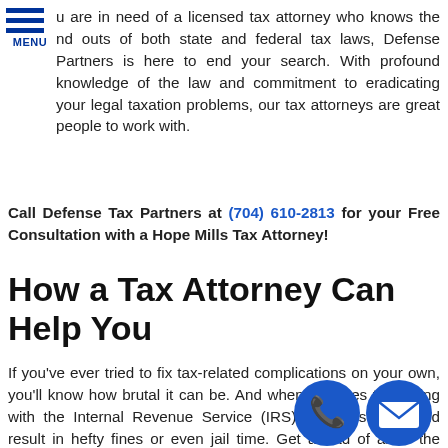MENU
u are in need of a licensed tax attorney who knows the nd outs of both state and federal tax laws, Defense Partners is here to end your search. With profound knowledge of the law and commitment to eradicating your legal taxation problems, our tax attorneys are great people to work with.
Call Defense Tax Partners at (704) 610-2813 for your Free Consultation with a Hope Mills Tax Attorney!
How a Tax Attorney Can Help You
If you've ever tried to fix tax-related complications on your own, you'll know how brutal it can be. And when it comes to dealing with the Internal Revenue Service (IRS), one mistake could result in hefty fines or even jail time. Get ahead of all of the unnecessary stress by employing the services of a talented Hope Mills tax attorney from Defense Tax Partners. Our team of professionals assists